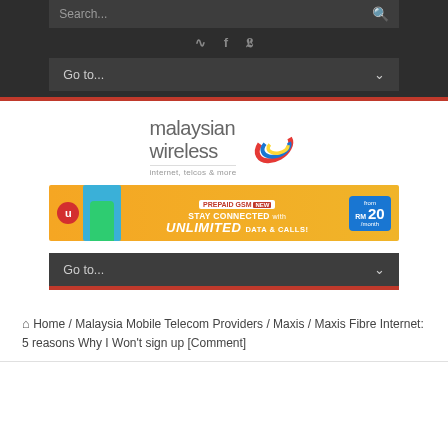Search... [search icon] [RSS] [Facebook] [Twitter] Go to...
[Figure (logo): Malaysian Wireless logo with tagline 'internet, telcos & more']
[Figure (illustration): U Mobile advertisement banner: PREPAID GSM NEW - STAY CONNECTED with UNLIMITED DATA & CALLS! from RM 20/month]
Go to...
Home / Malaysia Mobile Telecom Providers / Maxis / Maxis Fibre Internet: 5 reasons Why I Won't sign up [Comment]